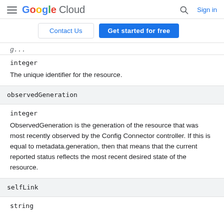Google Cloud — Search, Sign in
Contact Us | Get started for free
integer
The unique identifier for the resource.
observedGeneration
integer
ObservedGeneration is the generation of the resource that was most recently observed by the Config Connector controller. If this is equal to metadata.generation, then that means that the current reported status reflects the most recent desired state of the resource.
selfLink
string